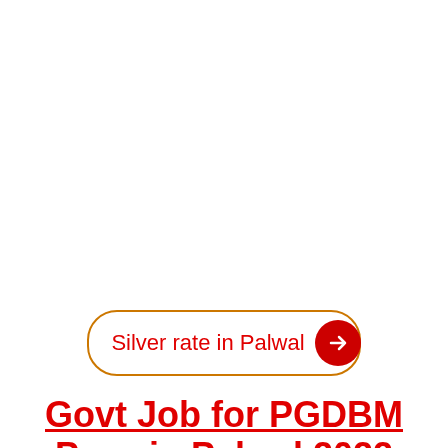[Figure (infographic): Button/link graphic with text 'Silver rate in Palwal' and a red circle arrow icon, bordered with orange rounded rectangle]
Govt Job for PGDBM Pass in Palwal 2022